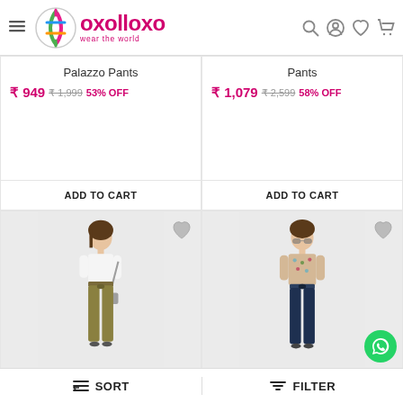[Figure (screenshot): Oxolloxo e-commerce app header with logo, hamburger menu, and icons for search, account, wishlist, cart]
Palazzo Pants
₹ 949 ₹ 1,999 53% OFF
ADD TO CART
Pants
₹ 1,079 ₹ 2,599 58% OFF
ADD TO CART
[Figure (photo): Woman wearing white top and olive green pants with a bag, product photo on light background]
[Figure (photo): Woman wearing floral top and dark navy pants with sunglasses, product photo on light background]
SORT
FILTER